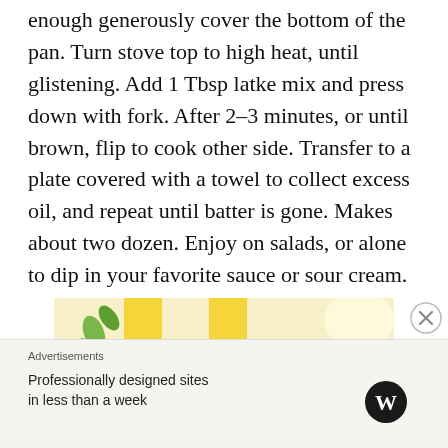enough generously cover the bottom of the pan. Turn stove top to high heat, until glistening. Add 1 Tbsp latke mix and press down with fork. After 2–3 minutes, or until brown, flip to cook other side. Transfer to a plate covered with a towel to collect excess oil, and repeat until batter is gone. Makes about two dozen. Enjoy on salads, or alone to dip in your favorite sauce or sour cream.
[Figure (photo): Close-up photo of food on a decorative plate with yellow and green floral design, showing what appears to be latkes or similar fried food with garnish.]
Advertisements
Professionally designed sites in less than a week